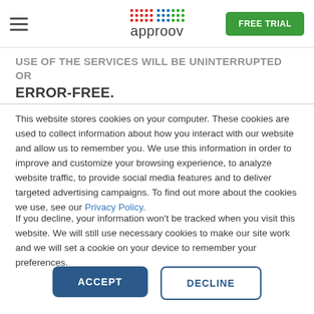approov | FREE TRIAL
USE OF THE SERVICES WILL BE UNINTERRUPTED OR ERROR-FREE.
This website stores cookies on your computer. These cookies are used to collect information about how you interact with our website and allow us to remember you. We use this information in order to improve and customize your browsing experience, to analyze website traffic, to provide social media features and to deliver targeted advertising campaigns. To find out more about the cookies we use, see our Privacy Policy.
If you decline, your information won't be tracked when you visit this website. We will still use necessary cookies to make our site work and we will set a cookie on your device to remember your preferences.